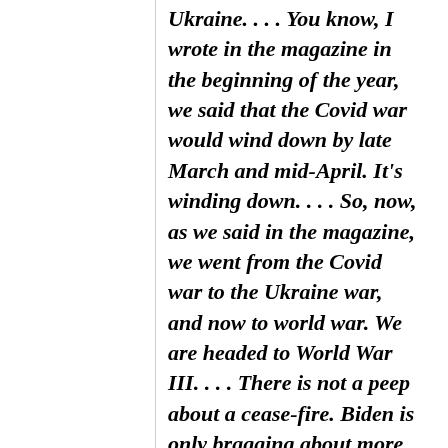Ukraine. . . . You know, I wrote in the magazine in the beginning of the year, we said that the Covid war would wind down by late March and mid-April. It's winding down. . . . So, now, as we said in the magazine, we went from the Covid war to the Ukraine war, and now to world war. We are headed to World War III. . . . There is not a peep about a cease-fire. Biden is only bragging about more weapons